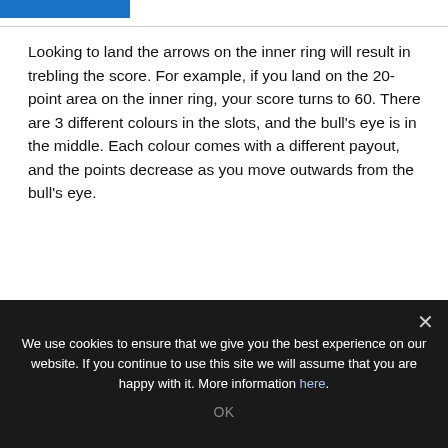Looking to land the arrows on the inner ring will result in trebling the score. For example, if you land on the 20-point area on the inner ring, your score turns to 60. There are 3 different colours in the slots, and the bull's eye is in the middle. Each colour comes with a different payout, and the points decrease as you move outwards from the bull's eye.
Darts 180 Video Slot Machine Payouts
We use cookies to ensure that we give you the best experience on our website. If you continue to use this site we will assume that you are happy with it. More information here.